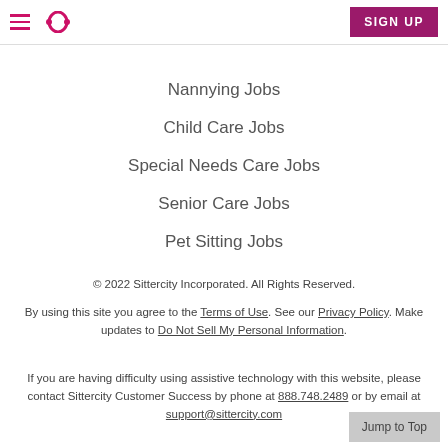Sittercity navigation header with hamburger menu, logo, and SIGN UP button
Nannying Jobs
Child Care Jobs
Special Needs Care Jobs
Senior Care Jobs
Pet Sitting Jobs
© 2022 Sittercity Incorporated. All Rights Reserved.
By using this site you agree to the Terms of Use. See our Privacy Policy. Make updates to Do Not Sell My Personal Information.
If you are having difficulty using assistive technology with this website, please contact Sittercity Customer Success by phone at 888.748.2489 or by email at support@sittercity.com